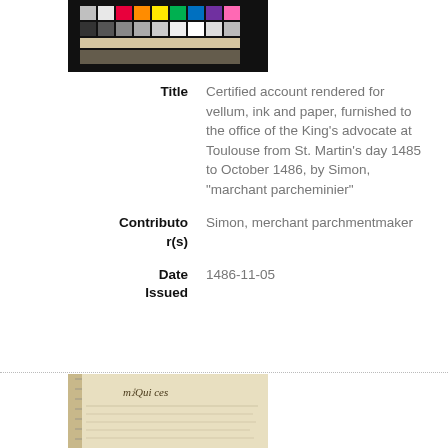[Figure (photo): Color calibration chart / test target image at top of page]
Title
Certified account rendered for vellum, ink and paper, furnished to the office of the King's advocate at Toulouse from St. Martin's day 1485 to October 1486, by Simon, "marchant parcheminier"
Contributor(s)
Simon, merchant parchmentmaker
Date Issued
1486-11-05
[Figure (photo): Scan of a medieval manuscript with handwritten text in Gothic script]